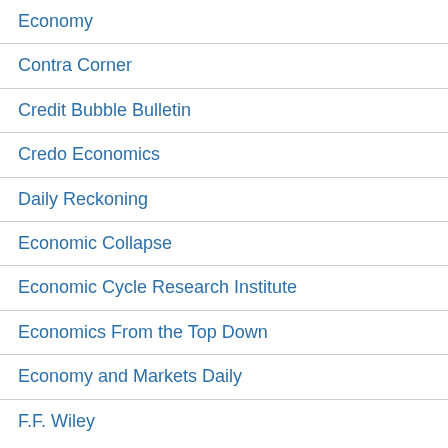Economy
Contra Corner
Credit Bubble Bulletin
Credo Economics
Daily Reckoning
Economic Collapse
Economic Cycle Research Institute
Economics From the Top Down
Economy and Markets Daily
F.F. Wiley